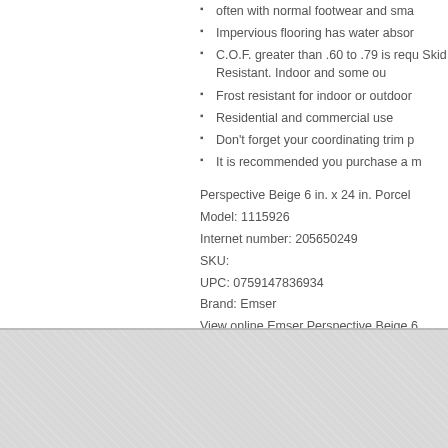often with normal footwear and sma
Impervious flooring has water absor
C.O.F. greater than .60 to .79 is requ Skid Resistant. Indoor and some ou
Frost resistant for indoor or outdoor
Residential and commercial use
Don't forget your coordinating trim p
It is recommended you purchase a m
Perspective Beige 6 in. x 24 in. Porcel
Model: 1115926
Internet number: 205650249
SKU:
UPC: 0759147836934
Brand: Emser
View online Emser Perspective Beige 6
friends.
Contact Us
Newsletter Sign-up:
Enter your email address
SUBMIT